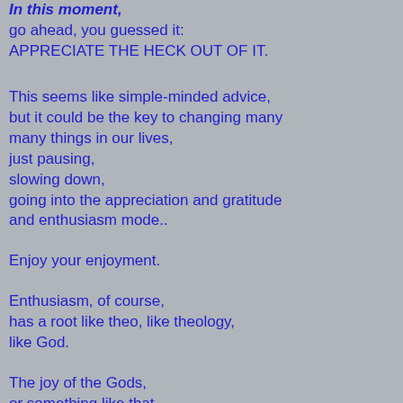In this moment,
go ahead, you guessed it:
APPRECIATE THE HECK OUT OF IT.
This seems like simple-minded advice,
but it could be the key to changing many
many things in our lives,
just pausing,
slowing down,
going into the appreciation and gratitude
and enthusiasm mode..
Enjoy your enjoyment.
Enthusiasm, of course,
has a root like theo, like theology,
like God.
The joy of the Gods,
or something like that.